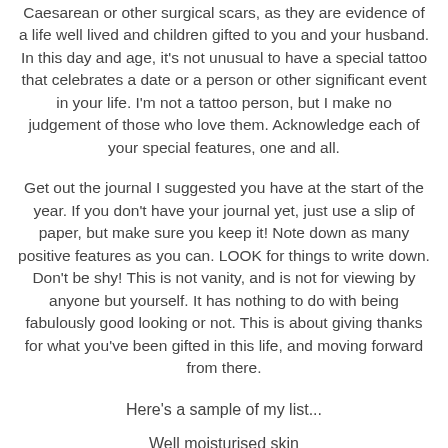Caesarean or other surgical scars, as they are evidence of a life well lived and children gifted to you and your husband. In this day and age, it's not unusual to have a special tattoo that celebrates a date or a person or other significant event in your life. I'm not a tattoo person, but I make no judgement of those who love them. Acknowledge each of your special features, one and all.
Get out the journal I suggested you have at the start of the year. If you don't have your journal yet, just use a slip of paper, but make sure you keep it! Note down as many positive features as you can. LOOK for things to write down. Don't be shy! This is not vanity, and is not for viewing by anyone but yourself. It has nothing to do with being fabulously good looking or not. This is about giving thanks for what you've been gifted in this life, and moving forward from there.
Here's a sample of my list...
Well moisturised skin
Long slender hands